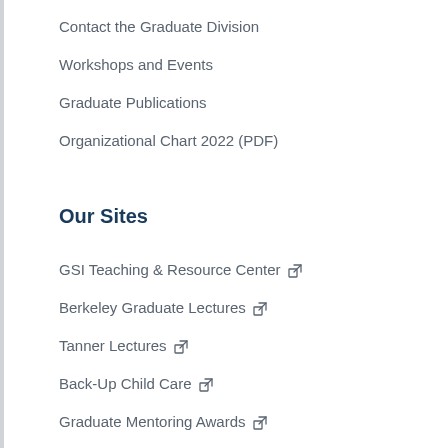Contact the Graduate Division
Workshops and Events
Graduate Publications
Organizational Chart 2022 (PDF)
Our Sites
GSI Teaching & Resource Center ↗
Berkeley Graduate Lectures ↗
Tanner Lectures ↗
Back-Up Child Care ↗
Graduate Mentoring Awards ↗
SMART Mentoring ↗
Grad Dashboard (for Faculty & Staff) ↗